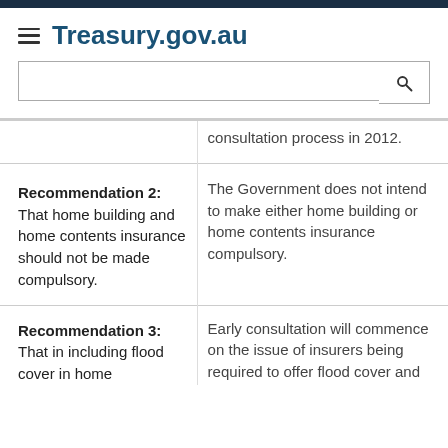Treasury.gov.au
consultation process in 2012.
Recommendation 2: That home building and home contents insurance should not be made compulsory.
The Government does not intend to make either home building or home contents insurance compulsory.
Recommendation 3: That in including flood cover in home
Early consultation will commence on the issue of insurers being required to offer flood cover and